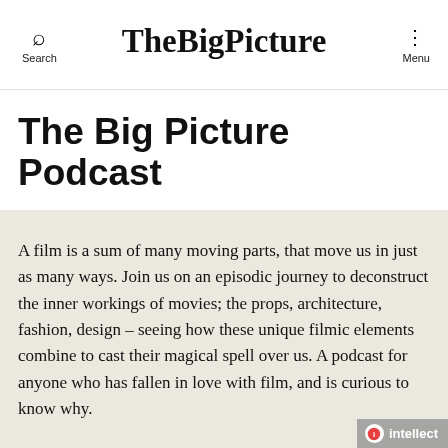Search  TheBigPicture  Menu
The Big Picture Podcast
A film is a sum of many moving parts, that move us in just as many ways. Join us on an episodic journey to deconstruct the inner workings of movies; the props, architecture, fashion, design – seeing how these unique filmic elements combine to cast their magical spell over us. A podcast for anyone who has fallen in love with film, and is curious to know why.